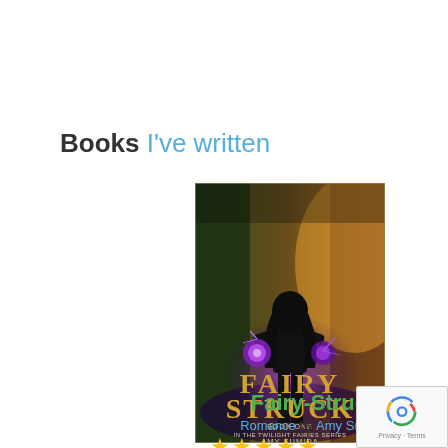Books I've written
[Figure (illustration): Book cover for Fairy-Struck by Amy Sumida. Shows a woman with dark hair seen from behind, with purple magical energy glowing in her hands, standing in a forest with golden light. Text reads: Fairy Struck, Book One in the Twilight Fairies Series, Amy Sumida.]
Fairy-Struck
Romance by Amy Sumida
★★★★★